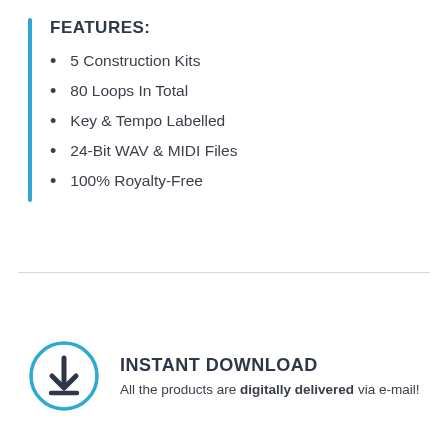FEATURES:
5 Construction Kits
80 Loops In Total
Key & Tempo Labelled
24-Bit WAV & MIDI Files
100% Royalty-Free
INSTANT DOWNLOAD
All the products are digitally delivered via e-mail!